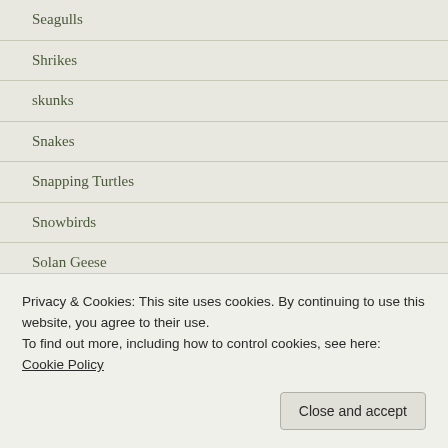Seagulls
Shrikes
skunks
Snakes
Snapping Turtles
Snowbirds
Solan Geese
Son of the Sun
Song birds
Song Dogs
Privacy & Cookies: This site uses cookies. By continuing to use this website, you agree to their use.
To find out more, including how to control cookies, see here: Cookie Policy
Close and accept